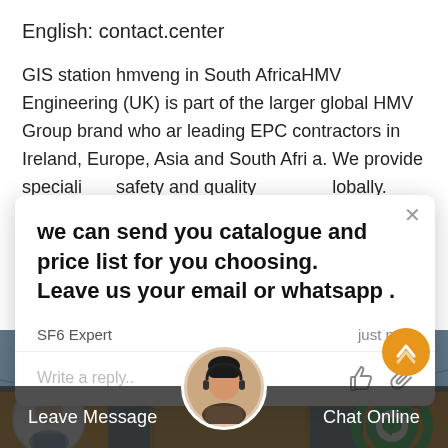English: contact.center
GIS station hmveng in South AfricaHMV Engineering (UK) is part of the larger global HMV Group brand who are leading EPC contractors in Ireland, Europe, Asia and South Africa. We provide specialised safety and quality globally.
[Figure (screenshot): Chat popup overlay with message: 'we can send you catalogue and price list for you choosing. Leave us your email or whatsapp.' from SF6 Expert, just now. Reply input and icons visible.]
[Figure (photo): Industrial electrical substation/GIS station background photo with yellow equipment and transmission towers.]
Leave Message
Chat Online